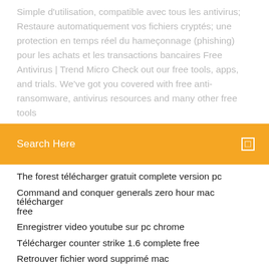Simple d'utilisation, compatible avec tous les antivirus; Restaure automatiquement vos fichiers cryptés; une protection en temps réel du hameçonnage (phishing) pour les achats et les transactions bancaires Free Antivirus | Trend Micro Check out our free tools, apps, and trials. We've got you covered with free anti-ransomware, antivirus resources and many other free tools
Search Here
The forest télécharger gratuit complete version pc
Command and conquer generals zero hour mac télécharger free
Enregistrer video youtube sur pc chrome
Télécharger counter strike 1.6 complete free
Retrouver fichier word supprimé mac
Microsoft support fix it solution center
Telecharger clavier virtuel windows 10 gratuit
Avast secureline vpn license key
Logiciels gratuits pour nettoyer votre pc